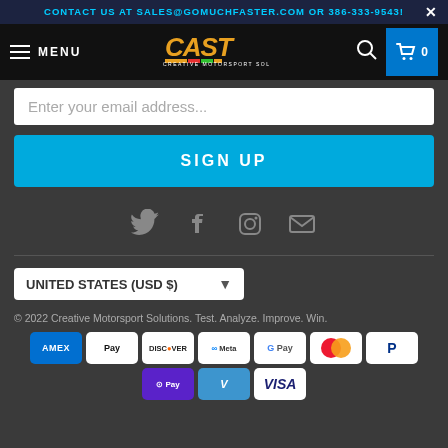CONTACT US AT SALES@GOMUCHFASTER.COM OR 386-333-9543!
[Figure (screenshot): Navigation bar with hamburger menu, CAST Creative Motorsport Solutions logo, search icon, and cart (0) button]
Enter your email address...
SIGN UP
[Figure (infographic): Social media icons: Twitter, Facebook, Instagram, Email]
UNITED STATES (USD $)
© 2022 Creative Motorsport Solutions. Test. Analyze. Improve. Win.
[Figure (infographic): Payment method icons: AMEX, Apple Pay, Discover, Meta Pay, Google Pay, Mastercard, PayPal, Shop Pay, Venmo, Visa]